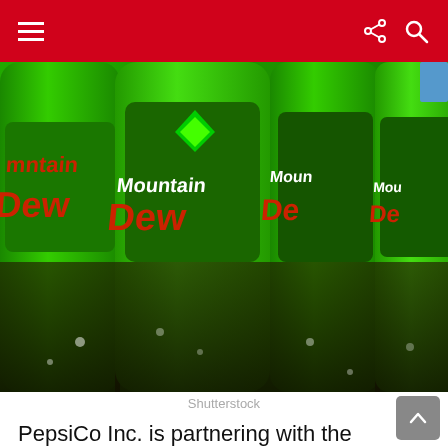Navigation bar with hamburger menu, share and search icons
[Figure (photo): Multiple Mountain Dew green plastic bottles arranged in a row, showing the Mountain Dew logo prominently on a green background]
Shutterstock
PepsiCo Inc. is partnering with the Boston Beer Company to make HARD MTN Dew, an alcoholic version of Mountain Dew. According to the beer company's announcement, the new hard seltzer